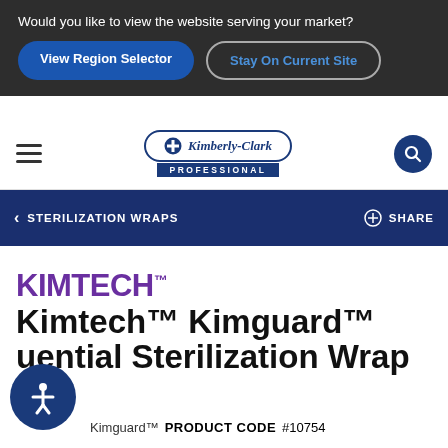Would you like to view the website serving your market?
View Region Selector
Stay On Current Site
[Figure (logo): Kimberly-Clark Professional logo with cross emblem and oval border]
STERILIZATION WRAPS
SHARE
KIMTECH™
Kimtech™ Kimguard™ Sequential Sterilization Wrap
Kimguard™   PRODUCT CODE  #10754